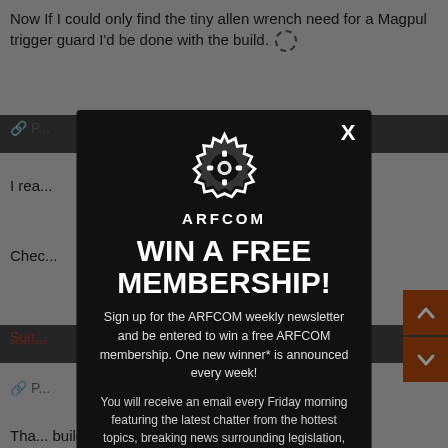Now If I could only find the tiny allen wrench need for a Magpul trigger guard I'd be done with the build.
I rea...
Chec...
Sun...
Tha... build...
As fo... defle...
Tha...
[Figure (screenshot): ARFCOM modal popup overlay on a forum page. The modal has a dark/black background with a white gear logo and 'ARFCOM' text, bold white text reading 'WIN A FREE MEMBERSHIP!', descriptive text about signing up for the ARFCOM weekly newsletter to win a free membership, and an email input field at the bottom. There is an X close button at the top right of the modal.]